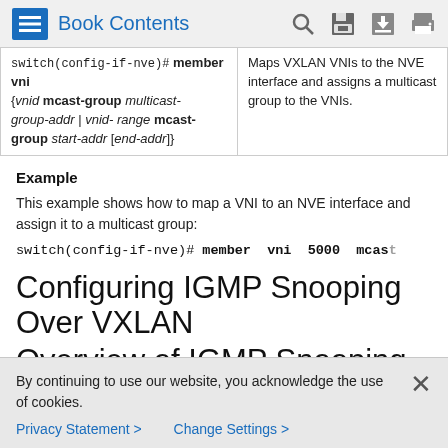Book Contents
| Command | Description |
| --- | --- |
| switch(config-if-nve)# member vni {vnid mcast-group multicast-group-addr | vnid-range mcast-group start-addr [end-addr]} | Maps VXLAN VNIs to the NVE interface and assigns a multicast group to the VNIs. |
Example
This example shows how to map a VNI to an NVE interface and assign it to a multicast group:
switch(config-if-nve)# member vni 5000 mcast-...
Configuring IGMP Snooping Over VXLAN
Overview of IGMP Snooping Over VXLAN
By continuing to use our website, you acknowledge the use of cookies.
Privacy Statement > Change Settings >